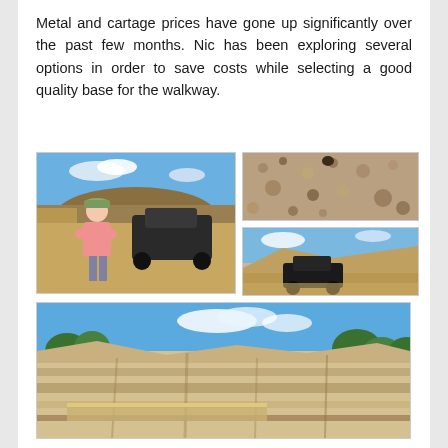Metal and cartage prices have gone up significantly over the past few months. Nic has been exploring several options in order to save costs while selecting a good quality base for the walkway.
[Figure (photo): Man in pink shirt and cap standing next to a dark car at a sandy/gravel quarry site with hills in background]
[Figure (photo): Close-up of gravel/sandy aggregate material]
[Figure (photo): Aerial or distant view of quarry with a dark car visible on sandy terrain]
[Figure (photo): Wide view of sandy quarry face / cliff with layered sediment walls under blue sky with trees in background]